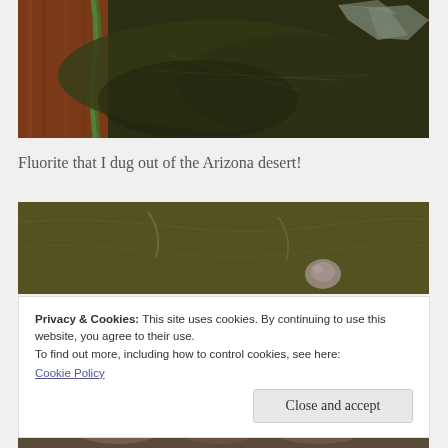[Figure (photo): Close-up photo of dark olive-green dried leaves with a green braided cord/rope on a wooden surface, with a crystal/fluorite specimen visible at top right]
Fluorite that I dug out of the Arizona desert!
[Figure (photo): Close-up photo of dark olive-green fabric or surface with a small pinkish-white crystal or stone visible]
Privacy & Cookies: This site uses cookies. By continuing to use this website, you agree to their use.
To find out more, including how to control cookies, see here:
Cookie Policy
Close and accept
[Figure (photo): Partial view of a photo showing mineral/rock specimens]